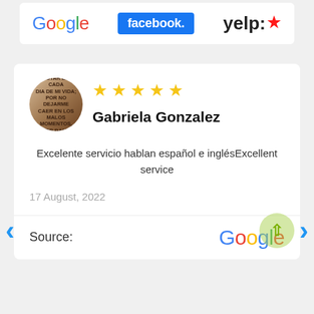[Figure (logo): Google, Facebook, and Yelp logos in a white bar]
[Figure (screenshot): Review card showing 5 stars, reviewer avatar, name Gabriela Gonzalez, review text in Spanish and English, date 17 August 2022, and Google source logo with watermark]
Gabriela Gonzalez
Excelente servicio hablan español e inglésExcellent service
17 August, 2022
Source: